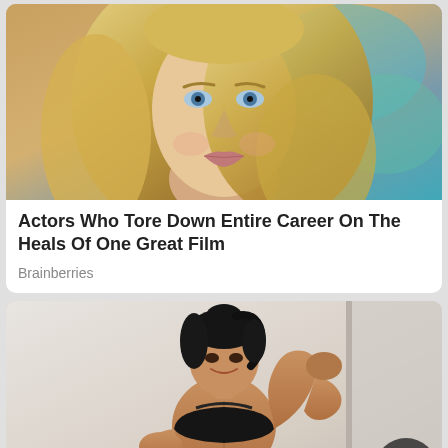[Figure (photo): Close-up photo of a blonde woman with blue eyes looking at camera, blurred colorful background]
Actors Who Tore Down Entire Career On The Heals Of One Great Film
Brainberries
[Figure (photo): Photo of a fit dark-haired woman in black sports bra flexing her bicep and showing abs, white background]